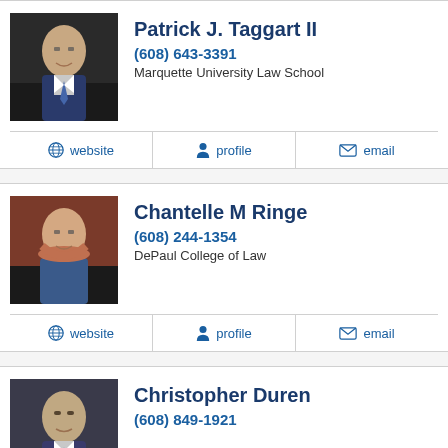[Figure (photo): Headshot of Patrick J. Taggart II, male attorney in suit]
Patrick J. Taggart II
(608) 643-3391
Marquette University Law School
website  profile  email
[Figure (photo): Headshot of Chantelle M Ringe, female attorney]
Chantelle M Ringe
(608) 244-1354
DePaul College of Law
website  profile  email
[Figure (photo): Headshot of Christopher Duren, male attorney in suit]
Christopher Duren
(608) 849-1921